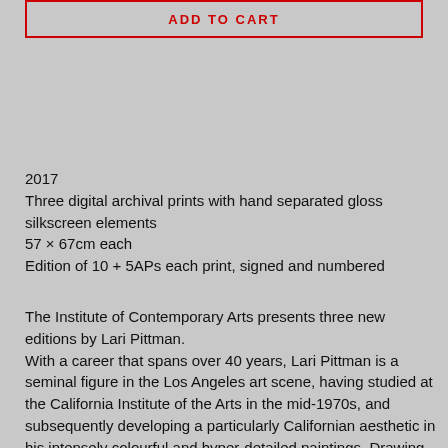[Figure (screenshot): ADD TO CART button with red border on grey background]
2017
Three digital archival prints with hand separated gloss silkscreen elements
57 × 67cm each
Edition of 10 + 5APs each print, signed and numbered
The Institute of Contemporary Arts presents three new editions by Lari Pittman.
With a career that spans over 40 years, Lari Pittman is a seminal figure in the Los Angeles art scene, having studied at the California Institute of the Arts in the mid-1970s, and subsequently developing a particularly Californian aesthetic in his intensely colourful and hyper-detailed paintings. Drawing on influences including commercial graphics and the tradition of Central and Latin American mural and